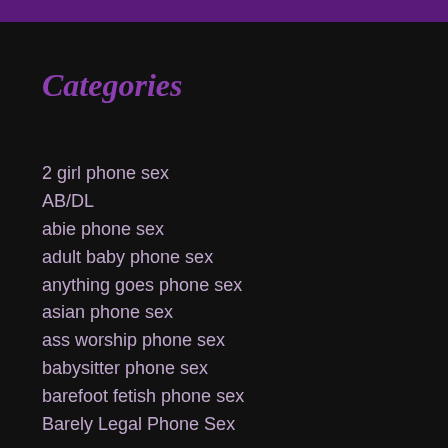Categories
2 girl phone sex
AB/DL
abie phone sex
adult baby phone sex
anything goes phone sex
asian phone sex
ass worship phone sex
babysitter phone sex
barefoot fetish phone sex
Barely Legal Phone Sex